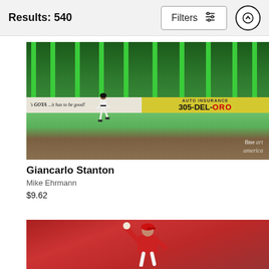Results: 540
[Figure (photo): Baseball player (Giancarlo Stanton) on field at Marlins Park, with green outfield wall, Goya and 305-Del-Toro advertisements visible, watermark 'fine art america']
Giancarlo Stanton
Mike Ehrmann
$9.62
[Figure (photo): Baseball pitcher in red uniform and red cap mid-windup, holding a baseball, crowd in red visible in background]